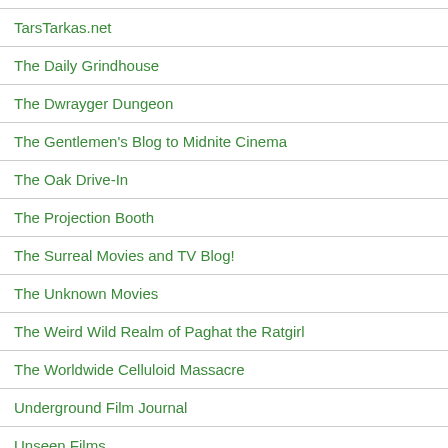TarsTarkas.net
The Daily Grindhouse
The Dwrayger Dungeon
The Gentlemen's Blog to Midnite Cinema
The Oak Drive-In
The Projection Booth
The Surreal Movies and TV Blog!
The Unknown Movies
The Weird Wild Realm of Paghat the Ratgirl
The Worldwide Celluloid Massacre
Underground Film Journal
Unseen Films